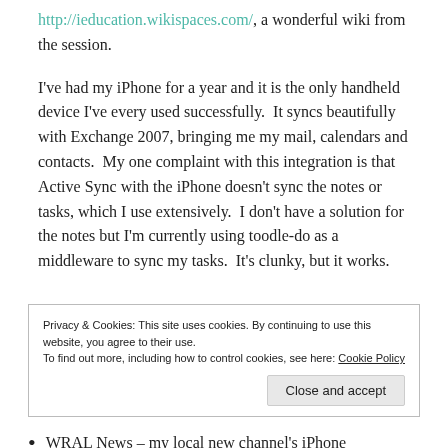http://ieducation.wikispaces.com/, a wonderful wiki from the session.
I've had my iPhone for a year and it is the only handheld device I've every used successfully.  It syncs beautifully with Exchange 2007, bringing me my mail, calendars and contacts.  My one complaint with this integration is that Active Sync with the iPhone doesn't sync the notes or tasks, which I use extensively.  I don't have a solution for the notes but I'm currently using toodle-do as a middleware to sync my tasks.  It's clunky, but it works.
Privacy & Cookies: This site uses cookies. By continuing to use this website, you agree to their use.
To find out more, including how to control cookies, see here: Cookie Policy
Close and accept
WRAL News – my local new channel's iPhone